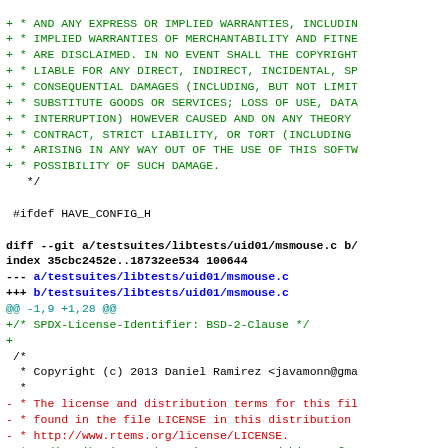Diff/patch code showing BSD license header replacement in msmouse.c file